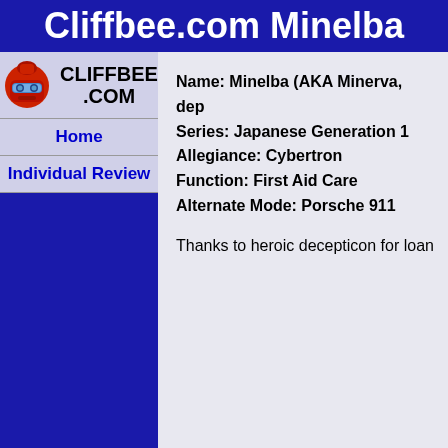Cliffbee.com Minelba
[Figure (logo): Cliffbee.com logo with red robot face and text CLIFFBEE .COM]
Home
Individual Review
Name: Minelba (AKA Minerva, dep
Series: Japanese Generation 1
Allegiance: Cybertron
Function: First Aid Care
Alternate Mode: Porsche 911
Thanks to heroic decepticon for loan